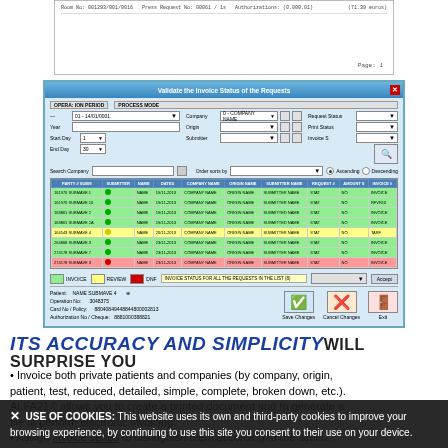[Figure (screenshot): Partial document printout showing invoice lines at the top of the page with a page number at bottom right]
[Figure (screenshot): Software window titled 'Validate the Invoice Status of the Requests' with filter fields (Company, Origin, Submitter, Year, Start Day, End Day, Request Status, Print Status, Invoice S), a data grid showing invoice requests with colored rows (green, yellow, red), legend, status bar, and action buttons (Save Changes, Cancel Changes, Exit)]
ITS ACCURACY AND SIMPLICITY WILL SURPRISE YOU
Invoice both private patients and companies (by company, origin, patient, test, reduced, detailed, simple, complete, broken down, etc.). ALFA21® allows you to create a printed document and to generate a file to perform electronic invoicing.
USE OF COOKIES: This website uses its own and third-party cookies to improve your browsing experience, by continuing to use this site you consent to their use on your device.
Assign invoice series to distinguish them according to the activity...